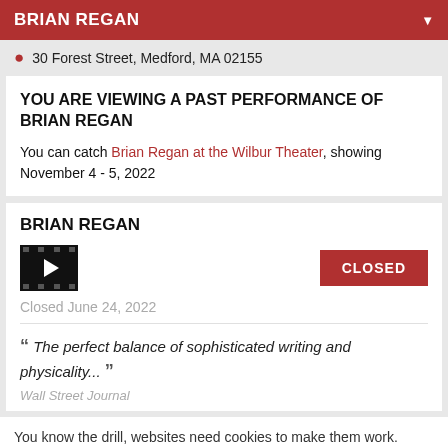BRIAN REGAN
30 Forest Street, Medford, MA 02155
YOU ARE VIEWING A PAST PERFORMANCE OF BRIAN REGAN
You can catch Brian Regan at the Wilbur Theater, showing November 4 - 5, 2022
BRIAN REGAN
[Figure (other): Film strip icon with play button and CLOSED red button]
Closed June 24, 2022
“The perfect balance of sophisticated writing and physicality...”
Wall Street Journal
You know the drill, websites need cookies to make them work. Details of how we do it here.
Got it!